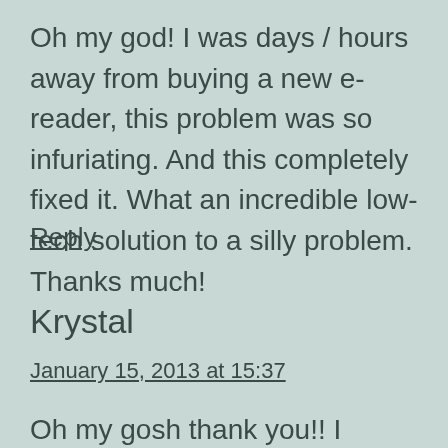Oh my god! I was days / hours away from buying a new e-reader, this problem was so infuriating. And this completely fixed it. What an incredible low-tech solution to a silly problem. Thanks much!
Reply
Krystal
January 15, 2013 at 15:37
Oh my gosh thank you!! I haven't used my nook in months because it wasn't responding